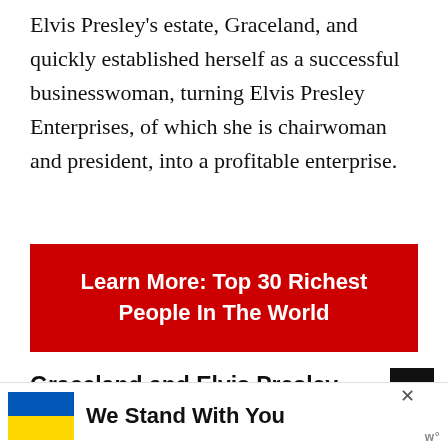Elvis Presley's estate, Graceland, and quickly established herself as a successful businesswoman, turning Elvis Presley Enterprises, of which she is chairwoman and president, into a profitable enterprise.
[Figure (other): Red banner with white bold text reading 'Learn More: Top 30 Richest People In The World']
Graceland and Elvis Presley Enterprise
After Presley's death in 1977, Priscilla Presley
[Figure (other): Advertisement banner with Ukrainian flag and text 'We Stand With You' with close button and brand logo]